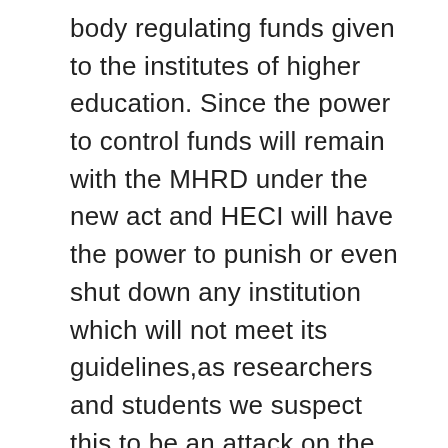body regulating funds given to the institutes of higher education. Since the power to control funds will remain with the MHRD under the new act and HECI will have the power to punish or even shut down any institution which will not meet its guidelines,as researchers and students we suspect this to be an attack on the autonomy of the universities. Also without grants, the universities are expected to repay the 'loans' they have taken from the MHRD, which will automatically lead to further hike in fees, making the higher education spaces exclusionary for students. Already specialized centres like Centres for Study of Social Exclusion or Centres for Women studies, which deal with social exclusion and raise criticisms are dissolved in universities like JNU and TISS